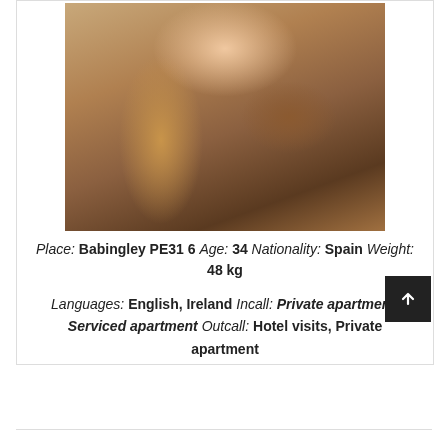[Figure (photo): Photo of a blonde woman wearing a dark top, selfie style, taken from above]
Place: Babingley PE31 6 Age: 34 Nationality: Spain Weight: 48 kg
Languages: English, Ireland Incall: Private apartment, Serviced apartment Outcall: Hotel visits, Private apartment